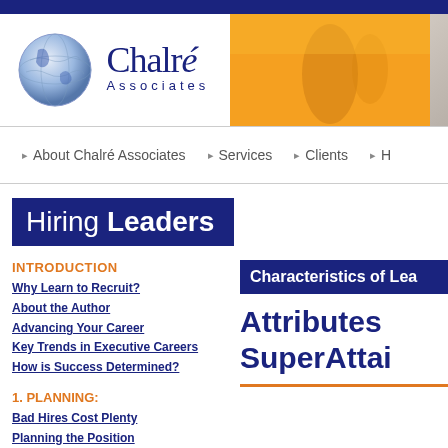[Figure (logo): Chalré Associates logo with globe and text]
[Figure (photo): Header photo strip with orange and grey sections]
About Chalré Associates   Services   Clients   H...
Hiring Leaders
INTRODUCTION
Why Learn to Recruit?
About the Author
Advancing Your Career
Key Trends in Executive Careers
How is Success Determined?
1. PLANNING:
Bad Hires Cost Plenty
Planning the Position
2. SOURCING:
Sources of Talent
Candidate Universe
Active & Passive
Talent Mapping
Characteristics of Lea...
Attributes
SuperAttai...